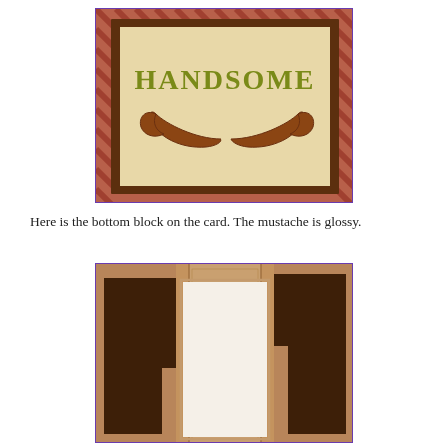[Figure (photo): Handmade greeting card showing the word HANDSOME in olive green serif letters above a brown glossy mustache graphic, set on a cream/beige background with brown border, placed on a patterned fabric background]
Here is the bottom block on the card.  The mustache is glossy.
[Figure (photo): Card construction photo showing the inside of a gatefold/tri-fold card with dark brown panels on left and right sides and a white/cream center panel, with copper-patterned spine, viewed from the front open]